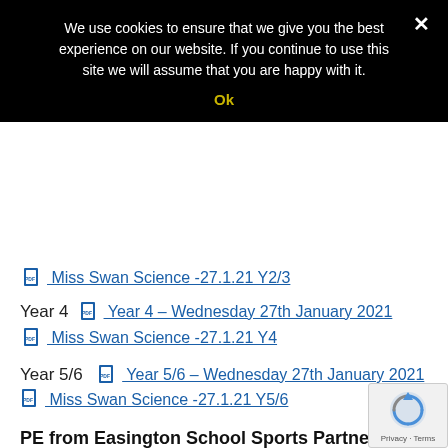We use cookies to ensure that we give you the best experience on our website. If you continue to use this site we will assume that you are happy with it.
Ok
Miss Swan Science -27.1.21 Y2/3
Year 4   Year 4 – Wednesday 27th January 2021   Miss Swan Science -27.1.21 Y4
Year 5/6   Year 5/6 – Wednesday 27th January 2021   Miss Swan Science -27.1.21 Y5/6
PE from Easington School Sports Partnership :
Easington SSP and Sophie Pearn are inviting you to a